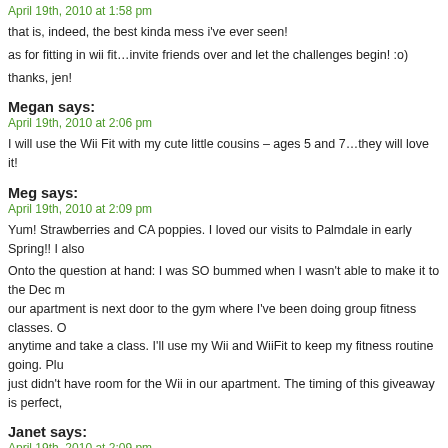April 19th, 2010 at 1:58 pm
that is, indeed, the best kinda mess i've ever seen!
as for fitting in wii fit…invite friends over and let the challenges begin! :o)
thanks, jen!
Megan says:
April 19th, 2010 at 2:06 pm
I will use the Wii Fit with my cute little cousins – ages 5 and 7…they will love it!
Meg says:
April 19th, 2010 at 2:09 pm
Yum! Strawberries and CA poppies. I loved our visits to Palmdale in early Spring!! I also
Onto the question at hand: I was SO bummed when I wasn't able to make it to the Dec m… our apartment is next door to the gym where I've been doing group fitness classes. O… anytime and take a class. I'll use my Wii and WiiFit to keep my fitness routine going. Plu… just didn't have room for the Wii in our apartment. The timing of this giveaway is perfect,
Janet says:
April 19th, 2010 at 2:09 pm
ALWAYS enjoy your blog, and this is a great give-away. Thank you!